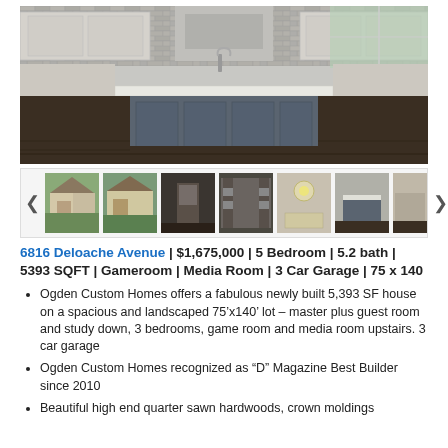[Figure (photo): Interior kitchen photo showing a large gray kitchen island with white marble countertop, dark hardwood floors, white upper cabinets, and stone backsplash]
[Figure (photo): Thumbnail gallery row with 6 visible property photos including exterior and interior shots, with left/right navigation arrows]
6816 Deloache Avenue | $1,675,000 | 5 Bedroom | 5.2 bath | 5393 SQFT | Gameroom | Media Room | 3 Car Garage | 75 x 140
Ogden Custom Homes offers a fabulous newly built 5,393 SF house on a spacious and landscaped 75’x140’ lot – master plus guest room and study down, 3 bedrooms, game room and media room upstairs. 3 car garage
Ogden Custom Homes recognized as “D” Magazine Best Builder since 2010
Beautiful high end quarter sawn hardwoods, crown moldings